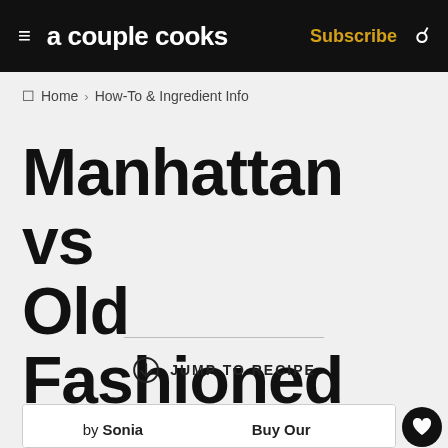a couple cooks — Subscribe
Home › How-To & Ingredient Info
Manhattan vs Old Fashioned
JUMP TO RECIPE
by Sonia   Buy Our